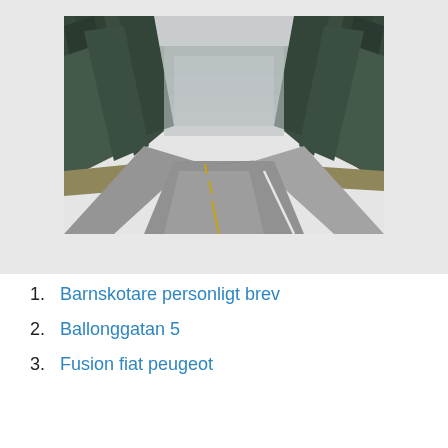[Figure (photo): A winding two-lane road curving through a dense forest of tall evergreen trees on a foggy, overcast day. The road has yellow center line markings and a white edge line. Dry golden grass lines the road shoulder. Misty fog fills the background between the dark green trees.]
Barnskotare personligt brev
Ballonggatan 5
Fusion fiat peugeot